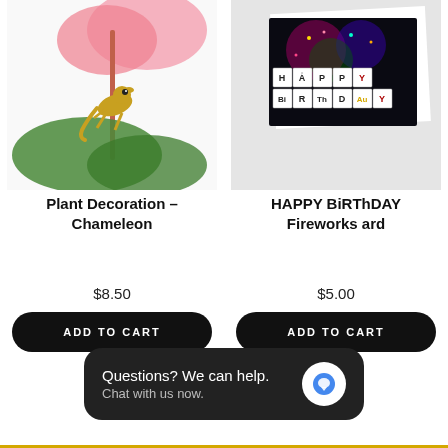[Figure (photo): Photo of a golden chameleon plant decoration on a pink flower plant with green leaves]
[Figure (photo): Birthday card with periodic table elements spelling HAPPY BiRThDAY with fireworks background]
Plant Decoration – Chameleon
HAPPY BiRThDAY Fireworks ard
$8.50
$5.00
ADD TO CART
ADD TO CART
Questions? We can help. Chat with us now.